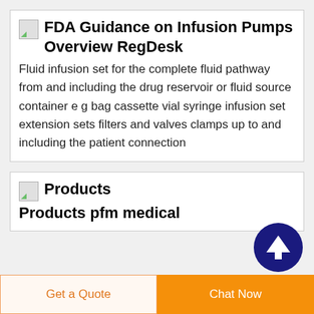FDA Guidance on Infusion Pumps Overview RegDesk
Fluid infusion set for the complete fluid pathway from and including the drug reservoir or fluid source container e g bag cassette vial syringe infusion set extension sets filters and valves clamps up to and including the patient connection
Products Products pfm medical
[Figure (other): Dark blue circular scroll-to-top button with white upward arrow]
Get a Quote | Chat Now